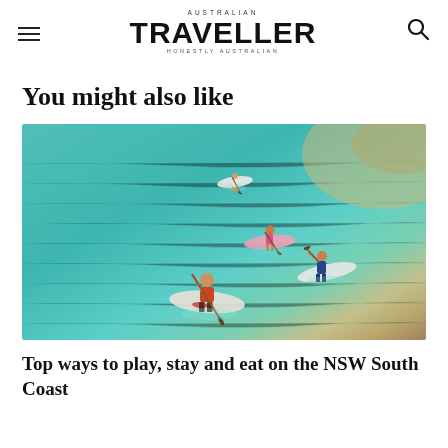AUSTRALIAN TRAVELLER — HONESTLY AUSTRALIAN
You might also like
[Figure (photo): Aerial drone view of four people stand-up paddleboarding on clear teal/turquoise water, seen from above. The paddleboards are colourful (white, pink, red/white) and the water transitions from turquoise to sandy/golden near the upper right corner.]
Top ways to play, stay and eat on the NSW South Coast